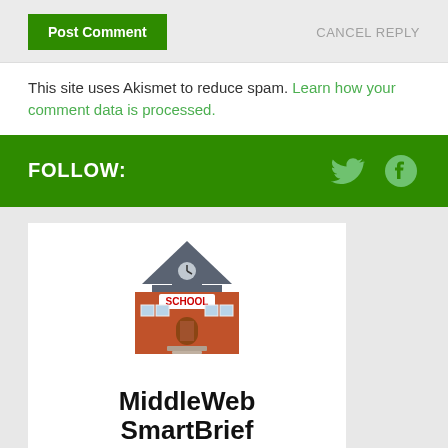Post Comment   CANCEL REPLY
This site uses Akismet to reduce spam. Learn how your comment data is processed.
FOLLOW:
[Figure (illustration): School building emoji illustration with clock tower, red brick facade, and SCHOOL sign]
MiddleWeb SmartBrief
The smarter way to stay on top